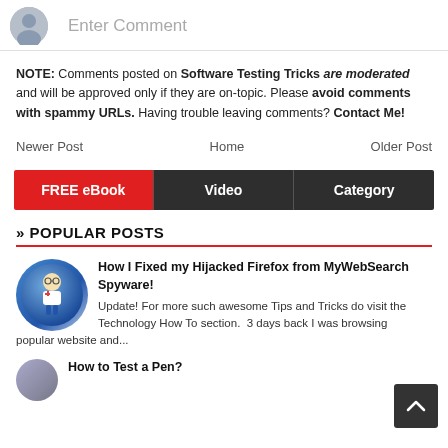[Figure (other): Comment input area with avatar icon and 'Enter Comment' placeholder text]
NOTE: Comments posted on Software Testing Tricks are moderated and will be approved only if they are on-topic. Please avoid comments with spammy URLs. Having trouble leaving comments? Contact Me!
Newer Post   Home   Older Post
[Figure (other): Tab bar with three tabs: FREE eBook (red), Video (dark), Category (dark)]
» POPULAR POSTS
[Figure (illustration): Circular icon with a cartoon doctor/scientist figure for the Firefox/MyWebSearch post]
How I Fixed my Hijacked Firefox from MyWebSearch Spyware!
Update! For more such awesome Tips and Tricks do visit the Technology How To section.  3 days back I was browsing popular website and...
How to Test a Pen?